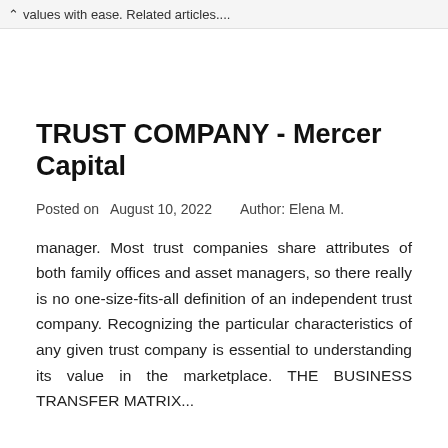values with ease. Related articles....
TRUST COMPANY - Mercer Capital
Posted on  August 10, 2022     Author: Elena M.
manager. Most trust companies share attributes of both family offices and asset managers, so there really is no one-size-fits-all definition of an independent trust company. Recognizing the particular characteristics of any given trust company is essential to understanding its value in the marketplace. THE BUSINESS TRANSFER MATRIX...